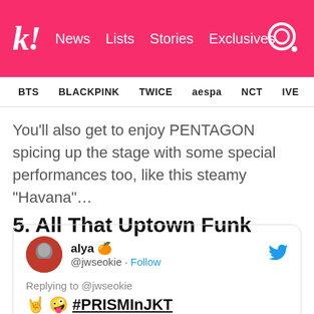k! News Lists Stories Exclusives
BTS BLACKPINK TWICE aespa NCT IVE ITZY
You'll also get to enjoy PENTAGON spicing up the stage with some special performances too, like this steamy “Havana”…
5. All That Uptown Funk
[Figure (screenshot): Tweet by alya (@jwseokie) replying to @jwseokie with text '🤘🤪 #PRISMInJKT' and a dark blue/black image at the bottom]